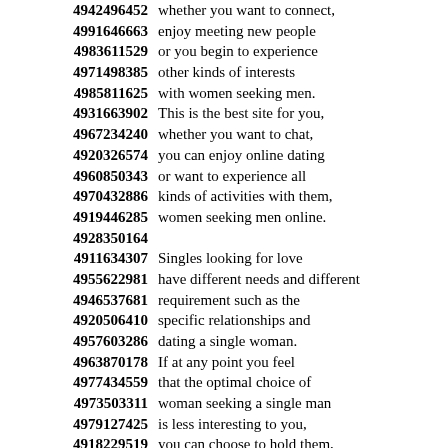4942496452 whether you want to connect,
4991646663 enjoy meeting new people
4983611529 or you begin to experience
4971498385 other kinds of interests
4985811625 with women seeking men.
4931663902 This is the best site for you,
4967234240 whether you want to chat,
4920326574 you can enjoy online dating
4960850343 or want to experience all
4970432886 kinds of activities with them,
4919446285 women seeking men online.
4928350164
4911634307 Singles looking for love
4955622981 have different needs and different
4946537681 requirement such as the
4920506410 specific relationships and
4957603286 dating a single woman.
4963870178 If at any point you feel
4977434559 that the optimal choice of
4973503311 woman seeking a single man
4979127425 is less interesting to you,
4918229519 you can choose to hold them,
4942248419 act as if everything is good.
4981868275 you do not have to come up with
4972857945 words and phrases to try
4980388733 ...